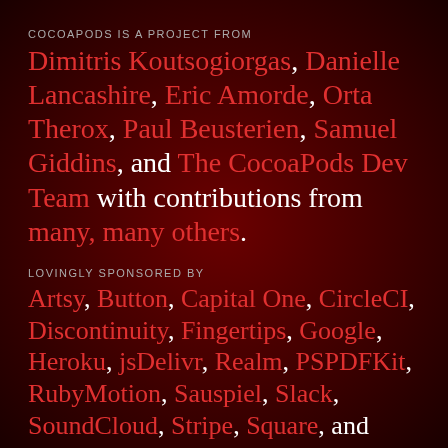COCOAPODS IS A PROJECT FROM
Dimitris Koutsogiorgas, Danielle Lancashire, Eric Amorde, Orta Therox, Paul Beusterien, Samuel Giddins, and The CocoaPods Dev Team with contributions from many, many others.
LOVINGLY SPONSORED BY
Artsy, Button, Capital One, CircleCI, Discontinuity, Fingertips, Google, Heroku, jsDelivr, Realm, PSPDFKit, RubyMotion, Sauspiel, Slack, SoundCloud, Stripe, Square, and Technology Astronauts.